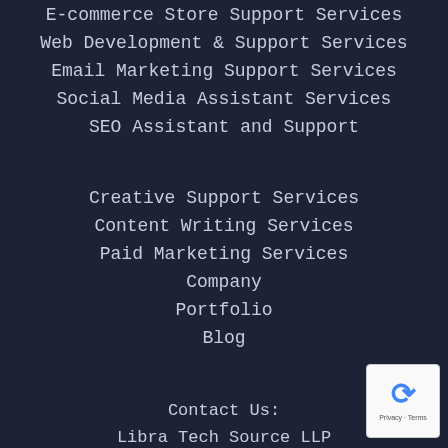E-commerce Store Support Services
Web Development & Support Services
Email Marketing Support Services
Social Media Assistant Services
SEO Assistant and Support
Creative Support Services
Content Writing Services
Paid Marketing Services
Company
Portfolio
Blog
Contact Us:
Libra Tech Source LLP
India: +91-22-42661461
+91-9821278753
US: (1) 646-487-0600